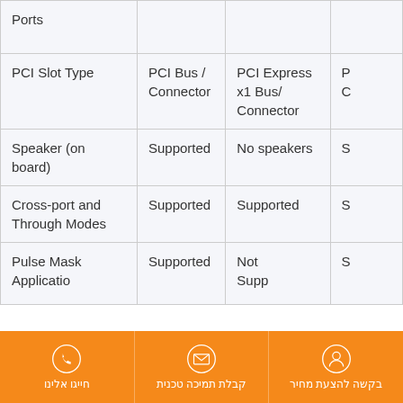| Feature | Col1 | Col2 | Col3 |
| --- | --- | --- | --- |
| Ports |  |  |  |
| PCI Slot Type | PCI Bus / Connector | PCI Express x1 Bus/ Connector | P C |
| Speaker (on board) | Supported | No speakers | S |
| Cross-port and Through Modes | Supported | Supported | S |
| Pulse Mask Application | Supported | Not Supported | S |
חייגו אלינו
קבלת תמיכה טכנית
בקשה להצעת מחיר